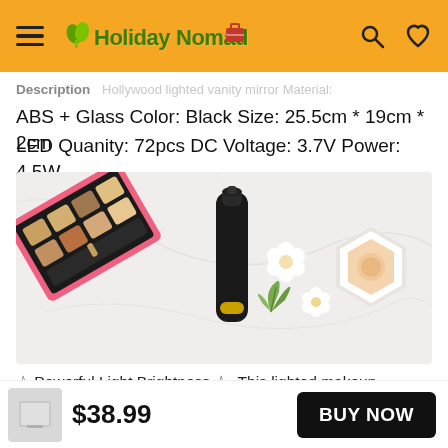HolidayNomad [hamburger menu, search icon, heart icon]
Description
ABS + Glass Color: Black Size: 25.5cm * 19cm * 2cm
LED Quanity: 72pcs DC Voltage: 3.7V Power: 4.5W
[Figure (photo): Flat lay of makeup products including a black foundation tube with gold band, a hexagonal compact powder, an open pink makeup palette with eyeshadows, and white flowers on a marble surface.]
✪ Powerful Light Brightness ✪- This lighted makeup
$38.99  BUY NOW